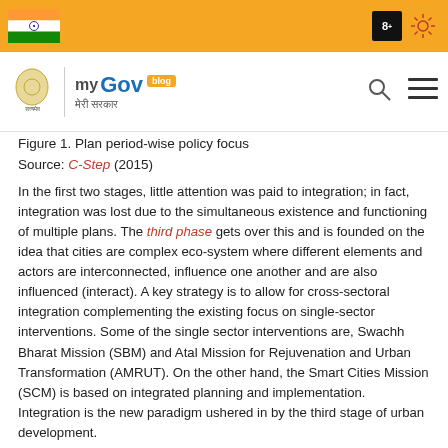[Figure (screenshot): MyGov India government website header with orange top bar showing Indian flag and icons, and MyGov logo with search and menu icons]
Figure 1. Plan period-wise policy focus
Source: C-Step (2015)
In the first two stages, little attention was paid to integration; in fact, integration was lost due to the simultaneous existence and functioning of multiple plans. The third phase gets over this and is founded on the idea that cities are complex eco-system where different elements and actors are interconnected, influence one another and are also influenced (interact). A key strategy is to allow for cross-sectoral integration complementing the existing focus on single-sector interventions. Some of the single sector interventions are, Swachh Bharat Mission (SBM) and Atal Mission for Rejuvenation and Urban Transformation (AMRUT). On the other hand, the Smart Cities Mission (SCM) is based on integrated planning and implementation. Integration is the new paradigm ushered in by the third stage of urban development.